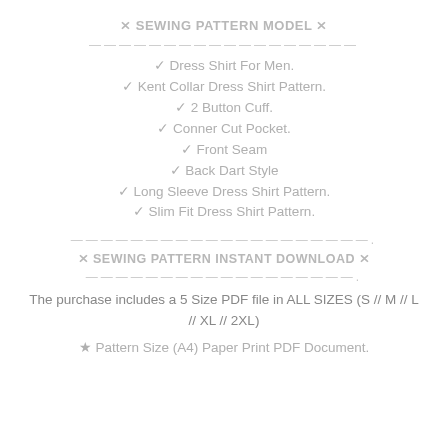✂ SEWING PATTERN MODEL ✂
✓ Dress Shirt For Men.
✓ Kent Collar Dress Shirt Pattern.
✓ 2 Button Cuff.
✓ Conner Cut Pocket.
✓ Front Seam
✓ Back Dart Style
✓ Long Sleeve Dress Shirt Pattern.
✓ Slim Fit Dress Shirt Pattern.
✂ SEWING PATTERN INSTANT DOWNLOAD ✂
The purchase includes a 5 Size PDF file in ALL SIZES (S // M // L // XL // 2XL)
★ Pattern Size (A4) Paper Print PDF Document.